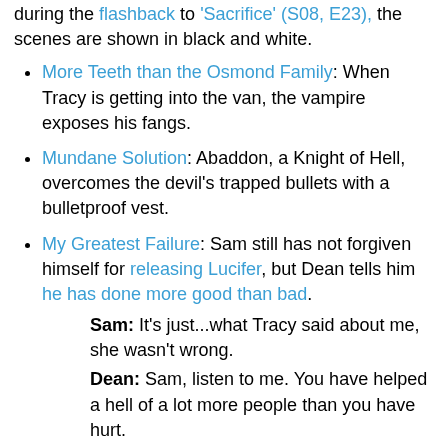during the flashback to 'Sacrifice' (S08, E23), the scenes are shown in black and white.
More Teeth than the Osmond Family: When Tracy is getting into the van, the vampire exposes his fangs.
Mundane Solution: Abaddon, a Knight of Hell, overcomes the devil's trapped bullets with a bulletproof vest.
My Greatest Failure: Sam still has not forgiven himself for releasing Lucifer, but Dean tells him he has done more good than bad.
Sam: It's just...what Tracy said about me, she wasn't wrong.
Dean: Sam, listen to me. You have helped a hell of a lot more people than you have hurt.
Naked on Revival: Abaddon emerges from the tub nude. There are a few smudges of dirt on her hand and face but her makeup, nail polish, and hair are perfect.
Neck Lift: Abaddon grabs the crossroads demon who possessed an old woman by the neck, but the crossroads demon smoked out of that meat suit. Later, Abaddon lifts Dean...